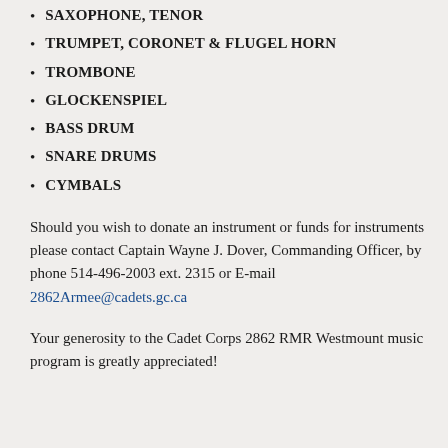SAXOPHONE, TENOR
TRUMPET, CORONET & FLUGEL HORN
TROMBONE
GLOCKENSPIEL
BASS DRUM
SNARE DRUMS
CYMBALS
Should you wish to donate an instrument or funds for instruments please contact Captain Wayne J. Dover, Commanding Officer, by phone 514-496-2003 ext. 2315 or E-mail 2862Armee@cadets.gc.ca
Your generosity to the Cadet Corps 2862 RMR Westmount music program is greatly appreciated!